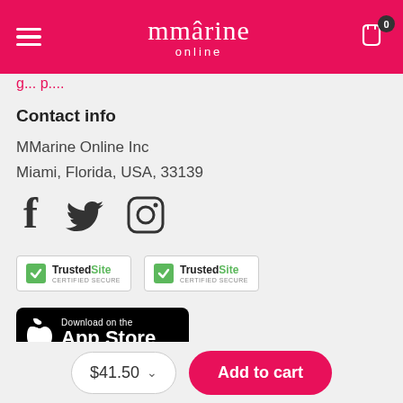[Figure (screenshot): MMarine Online website header with pink/magenta background, hamburger menu icon on left, 'mmarine online' logo in center, shopping cart icon with '0' badge on right]
Contact info
MMarine Online Inc
Miami, Florida, USA, 33139
[Figure (illustration): Social media icons: Facebook, Twitter, Instagram]
[Figure (logo): TrustedSite CERTIFIED SECURE badges (two identical)]
[Figure (logo): Download on the App Store badge (black)]
[Figure (logo): GET IT ON Google Play badge (black, partially visible)]
$41.50
Add to cart